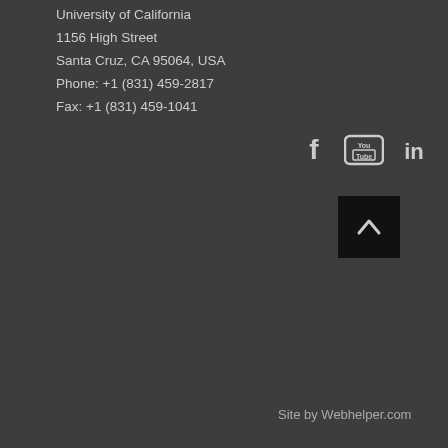University of California
1156 High Street
Santa Cruz, CA 95064, USA
Phone: +1 (831) 459-2817
Fax: +1 (831) 459-1041
[Figure (infographic): Social media icons: Facebook (f), YouTube (play button with tube label), LinkedIn (in)]
[Figure (other): Back to top button - dark square with upward chevron arrow]
Site by Webhelper.com